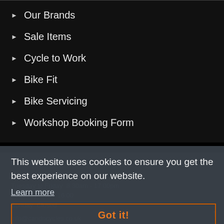Our Brands
Sale Items
Cycle to Work
Bike Fit
Bike Servicing
Workshop Booking Form
CONTACTING US
Monday  Closed
Tuesday to Friday  8:30am - 17:00pm
Saturday 9:00 - 16:00
Sunday  Closed
info@candncycles.co.uk
This website uses cookies to ensure you get the best experience on our website.
Learn more
Got it!